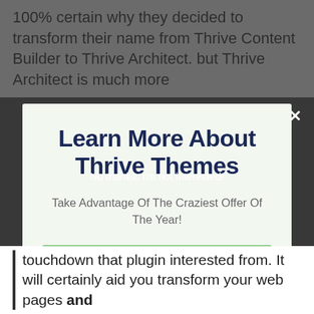100% certain why they decided to transform their name from Thrive Content Builder to Thrive Architect. but Thrive Architect is much more
Learn More About Thrive Themes
Take Advantage Of The Craziest Offer Of The Year!
CHECK OUT THE OFFICIAL THRIVE SITE HERE
No thanks, I'm not interested!
touchdown that plugin interested from. It will certainly aid you transform your web pages and